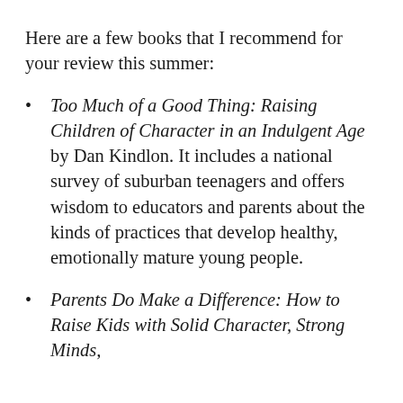Here are a few books that I recommend for your review this summer:
Too Much of a Good Thing: Raising Children of Character in an Indulgent Age by Dan Kindlon. It includes a national survey of suburban teenagers and offers wisdom to educators and parents about the kinds of practices that develop healthy, emotionally mature young people.
Parents Do Make a Difference: How to Raise Kids with Solid Character, Strong Minds,